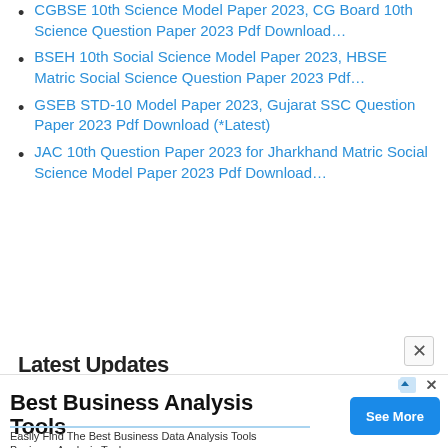CGBSE 10th Science Model Paper 2023, CG Board 10th Science Question Paper 2023 Pdf Download…
BSEH 10th Social Science Model Paper 2023, HBSE Matric Social Science Question Paper 2023 Pdf…
GSEB STD-10 Model Paper 2023, Gujarat SSC Question Paper 2023 Pdf Download (*Latest)
JAC 10th Question Paper 2023 for Jharkhand Matric Social Science Model Paper 2023 Pdf Download…
Latest Updates
[Figure (screenshot): Advertisement banner: Best Business Analysis Tools. Easily Find The Best Business Data Analysis Tools Business Analysis Tools. See More button.]